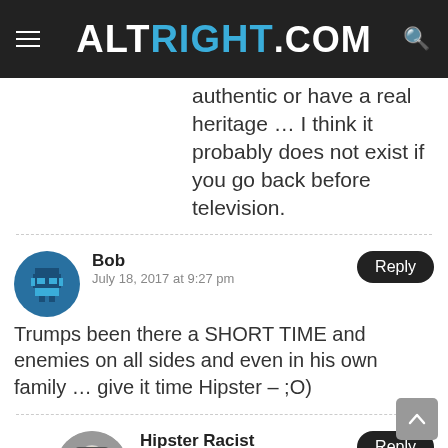[Figure (logo): ALTRIGHT.COM website header logo on dark background with hamburger menu icon on left and search icon on right]
authentic or have a real heritage … I think it probably does not exist if you go back before television.
Bob
July 18, 2017 at 9:27 pm
Trumps been there a SHORT TIME and enemies on all sides and even in his own family … give it time Hipster – ;O)
Hipster Racist
July 18, 2017 at 10:50 pm
@Bob